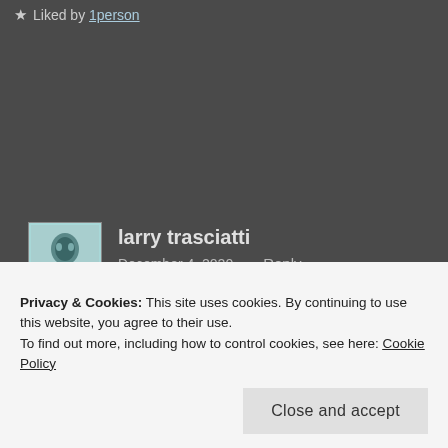★ Liked by 1person
larry trasciatti
December 4, 2020    Reply
Privacy & Cookies: This site uses cookies. By continuing to use this website, you agree to their use.
To find out more, including how to control cookies, see here: Cookie Policy
Close and accept